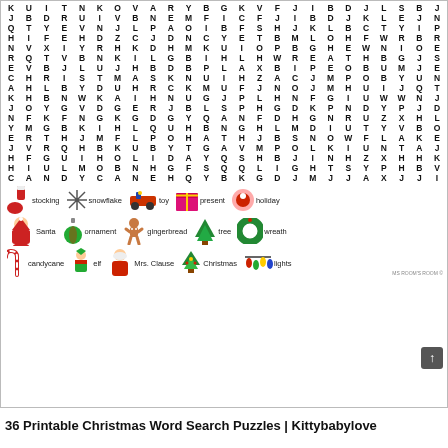[Figure (other): Christmas word search puzzle grid with letters arranged in rows and columns. Below the grid are three rows of illustrated Christmas-themed word clues with small clip-art images: stocking, snowflake, toy, present, holiday; Santa, ornament, gingerbread, tree, wreath; candycane, elf, Mrs. Clause, Christmas, lights.]
36 Printable Christmas Word Search Puzzles | Kittybabylove